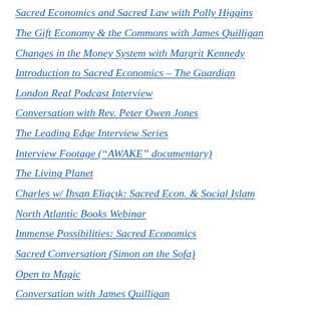Sacred Economics and Sacred Law with Polly Higgins
The Gift Economy & the Commons with James Quilligan
Changes in the Money System with Margrit Kennedy
Introduction to Sacred Economics – The Guardian
London Real Podcast Interview
Conversation with Rev. Peter Owen Jones
The Leading Edge Interview Series
Interview Footage (“AWAKE” documentary)
The Living Planet
Charles w/ İhsan Eliaçık: Sacred Econ. & Social Islam
North Atlantic Books Webinar
Immense Possibilities: Sacred Economics
Sacred Conversation (Simon on the Sofa)
Open to Magic
Conversation with James Quilligan